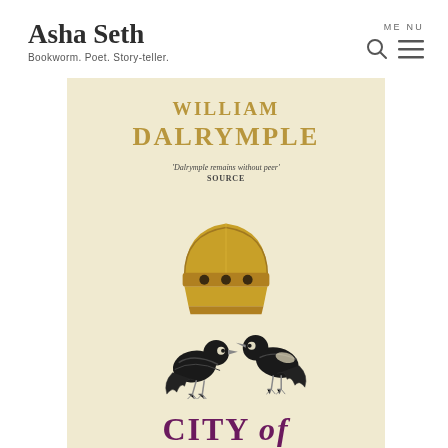Asha Seth — Bookworm. Poet. Story-teller.
[Figure (illustration): Book cover of 'City of...' by William Dalrymple. The cover has a cream/beige background with the author's name in large gold letters at the top reading 'WILLIAM DALRYMPLE'. Below is a quote 'Dalrymple remains without peer' with SOURCE beneath it. In the center is an illustration of a golden domed helmet/crown, and below that are two dark birds (pigeons or doves) illustrated in a medieval miniature style. The bottom of the cover shows partial text 'CITY of' in large purple/magenta letters.]